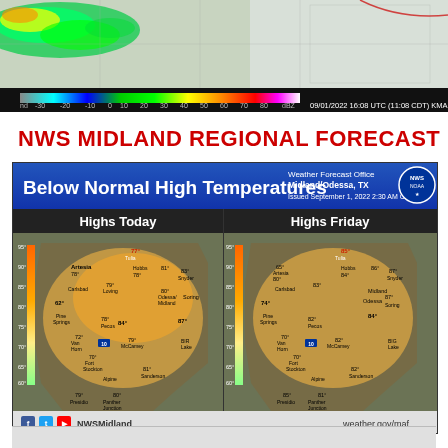[Figure (map): Radar reflectivity image showing precipitation over West Texas region dated 09/01/2022 16:08 UTC (11:08 CDT) KMAF, with dBZ color scale from -30 to 80]
NWS MIDLAND REGIONAL FORECAST
[Figure (map): NWS Midland Regional Forecast showing Below Normal High Temperatures for West Texas. Two side-by-side maps: Highs Today and Highs Friday, issued September 1, 2022 2:30 AM CT. Maps show temperature forecasts for various Texas cities with values ranging from 60s to 90s degrees F.]
NWSMidland   weather.gov/maf